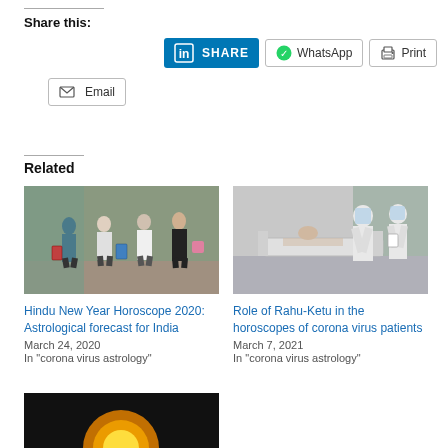Share this:
[Figure (screenshot): Social share buttons: LinkedIn SHARE, WhatsApp, Print, Email]
Related
[Figure (photo): People walking with luggage masks at airport/building]
Hindu New Year Horoscope 2020: Astrological forecast for India
March 24, 2020
In "corona virus astrology"
[Figure (photo): Medical workers in PPE suits next to hospital bed]
Role of Rahu-Ketu in the horoscopes of corona virus patients
March 7, 2021
In "corona virus astrology"
[Figure (photo): Dark background image partial view at bottom of page]